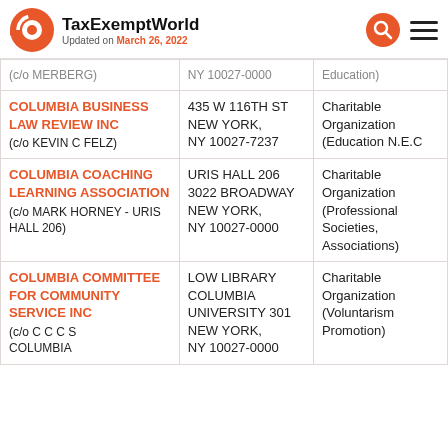TaxExemptWorld — Updated on March 26, 2022
| Organization | Address | Type |
| --- | --- | --- |
| (c/o MERBERG) | NY 10027-0000 | Education) |
| COLUMBIA BUSINESS LAW REVIEW INC
(c/o KEVIN C FELZ) | 435 W 116TH ST
NEW YORK, NY 10027-7237 | Charitable Organization (Education N.E.C) |
| COLUMBIA COACHING LEARNING ASSOCIATION
(c/o MARK HORNEY - URIS HALL 206) | URIS HALL 206
3022 BROADWAY
NEW YORK, NY 10027-0000 | Charitable Organization (Professional Societies, Associations) |
| COLUMBIA COMMITTEE FOR COMMUNITY SERVICE INC
(c/o C C C S COLUMBIA) | LOW LIBRARY COLUMBIA UNIVERSITY 301
NEW YORK, NY 10027-0000 | Charitable Organization (Voluntarism Promotion) |